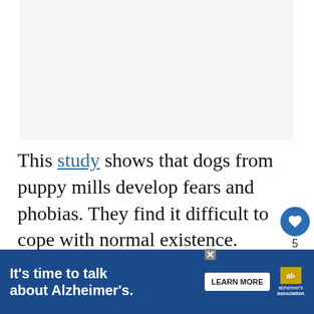[Figure (other): Advertisement placeholder area (light gray box)]
This study shows that dogs from puppy mills develop fears and phobias. They find it difficult to cope with normal existence.
[Figure (other): Social interaction buttons: heart (like) button with count 5, and share button]
[Figure (other): What's Next widget showing a dog illustration and text 'What Kind Of Dog Is...']
Another study shows similar results. That dogs...likely to...
[Figure (other): Alzheimer's Association advertisement banner: It's time to talk about Alzheimer's. LEARN MORE]